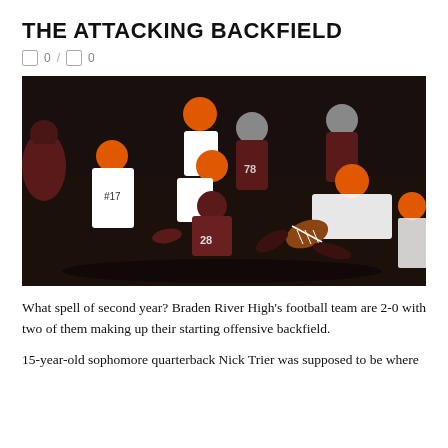THE ATTACKING BACKFIELD
0 / 0
[Figure (photo): Football game action photo showing players from two teams — one team in dark maroon/brown uniforms and another in orange helmets with white uniforms — in a pile-up play with the football visible.]
What spell of second year? Braden River High's football team are 2-0 with two of them making up their starting offensive backfield.
15-year-old sophomore quarterback Nick Trier was supposed to be where